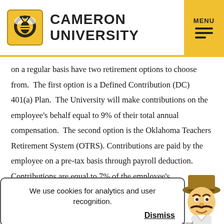CAMERON UNIVERSITY
on a regular basis have two retirement options to choose from.  The first option is a Defined Contribution (DC) 401(a) Plan.  The University will make contributions on the employee's behalf equal to 9% of their total annual compensation.  The second option is the Oklahoma Teachers Retirement System (OTRS). Contributions are paid by the employee on a pre-tax basis through payroll deduction.  Contributions are equal to 7% of the employee's
We use cookies for analytics and user recognition.
Dismiss